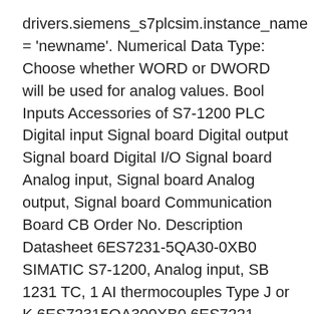drivers.siemens_s7plcsim.instance_name = 'newname'. Numerical Data Type: Choose whether WORD or DWORD will be used for analog values. Bool Inputs Accessories of S7-1200 PLC Digital input Signal board Digital output Signal board Digital I/O Signal board Analog input, Signal board Analog output, Signal board Communication Board CB Order No. Description Datasheet 6ES7231-5QA30-0XB0 SIMATIC S7-1200, Analog input, SB 1231 TC, 1 AI thermocouples Type J or K 6ES72315QA300XB0 6ES7221-3AD30-0XB0 SIMATIC S7-1200, Digital input SB 1221, 4 […] The Siemens SIMATIC S7-1200 is expandable by 8 analogue inputs and processes signals with +/- 10 V, +/- 5 V, +/- 2.5 V, or 0 (4) to 20 mA, at a resolution of 12 bits + sign bit (13 bits ADC).